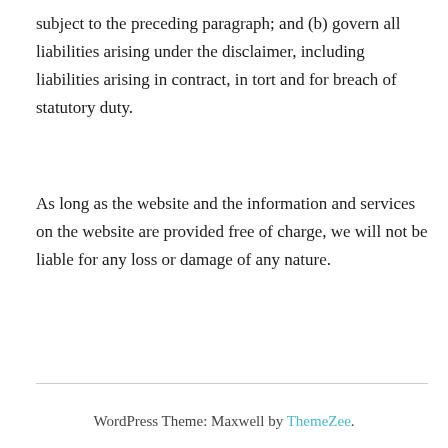subject to the preceding paragraph; and (b) govern all liabilities arising under the disclaimer, including liabilities arising in contract, in tort and for breach of statutory duty.
As long as the website and the information and services on the website are provided free of charge, we will not be liable for any loss or damage of any nature.
WordPress Theme: Maxwell by ThemeZee.